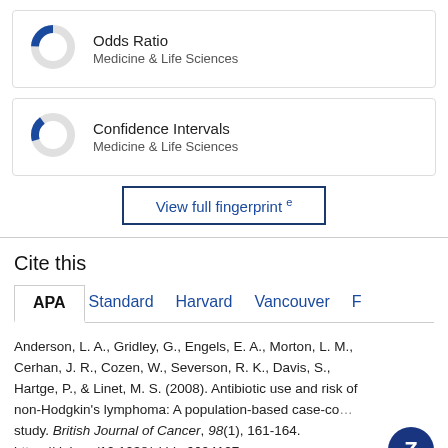[Figure (donut-chart): Small donut chart with a blue slice, labeled Odds Ratio, Medicine & Life Sciences]
[Figure (donut-chart): Small donut chart with a blue slice, labeled Confidence Intervals, Medicine & Life Sciences]
View full fingerprint
Cite this
APA  Standard  Harvard  Vancouver  F
Anderson, L. A., Gridley, G., Engels, E. A., Morton, L. M., Cerhan, J. R., Cozen, W., Severson, R. K., Davis, S., Hartge, P., & Linet, M. S. (2008). Antibiotic use and risk of non-Hodgkin's lymphoma: A population-based case-control study. British Journal of Cancer, 98(1), 161-164. https://doi.org/10.1038/sj.bjc.6604127